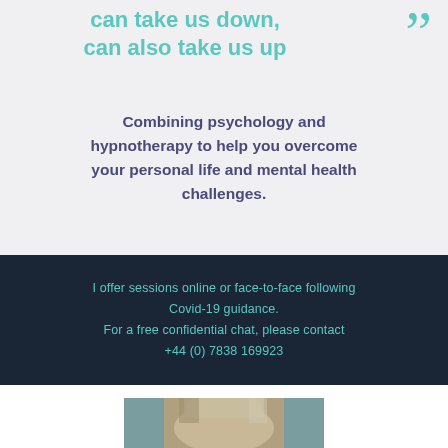can take us down, can also take us up
Combining psychology and hypnotherapy to help you overcome your personal life and mental health challenges.
I offer sessions online or face-to-face following Covid-19 guidance.
For a free confidential chat, please contact
+44 (0) 7838 169923
[Figure (photo): Portrait photo of a woman with blonde/grey hair against a teal and beige background]